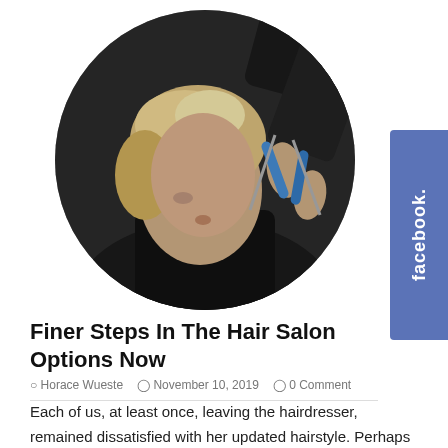[Figure (photo): Circular cropped photo of a person with short blonde hair getting a haircut, a stylist's hands holding blue scissors visible in the background]
Finer Steps In The Hair Salon Options Now
Horace Wueste   November 10, 2019   0 Comment
Each of us, at least once, leaving the hairdresser, remained dissatisfied with her updated hairstyle. Perhaps the problem lies in the fact that you and the master did not find a common